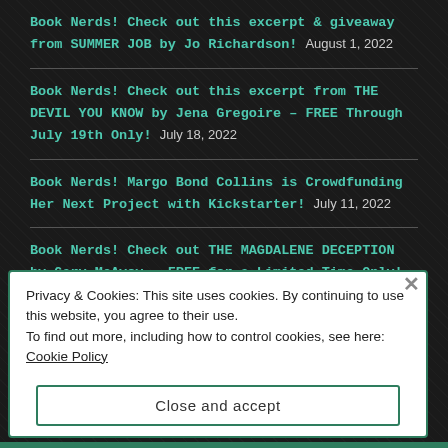Book Nerds! Check out this excerpt & giveaway from SUMMER JOB by Jo Richardson! August 1, 2022
Book Nerds! Check out this excerpt from THE DEVIL YOU KNOW by Jena Gregoire – FREE Through July 19th Only! July 18, 2022
Book Nerds! Margo Bond Collins is Crowdfunding Her Next Project with Kickstarter! July 11, 2022
Book Nerds! Check out THE MAGDALENE DECEPTION by Gary McAvoy – FREE for a Limited Time Only! June 2, 2022
Book Nerds! Check out this excerpt from OUTWARD...
Privacy & Cookies: This site uses cookies. By continuing to use this website, you agree to their use.
To find out more, including how to control cookies, see here: Cookie Policy
Close and accept